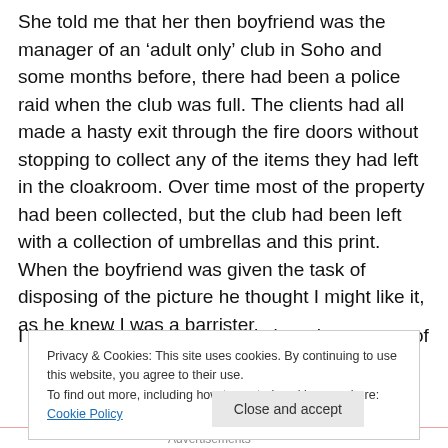She told me that her then boyfriend was the manager of an ‘adult only’ club in Soho and some months before, there had been a police raid when the club was full. The clients had all made a hasty exit through the fire doors without stopping to collect any of the items they had left in the cloakroom. Over time most of the property had been collected, but the club had been left with a collection of umbrellas and this print. When the boyfriend was given the task of disposing of the picture he thought I might like it, as he knew I was a barrister.
I decided his picture was too nic… the manner of
Privacy & Cookies: This site uses cookies. By continuing to use this website, you agree to their use.
To find out more, including how to control cookies, see here: Cookie Policy
Close and accept
Advertisements